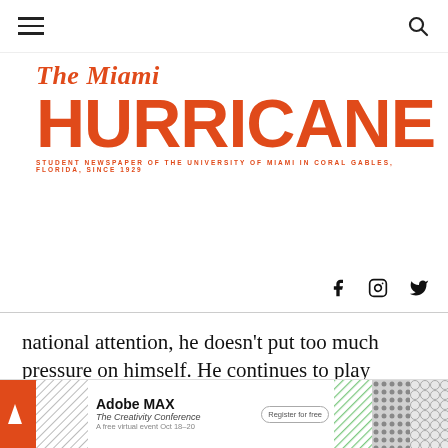The Miami HURRICANE — Student Newspaper of the University of Miami in Coral Gables, Florida, Since 1929
[Figure (logo): The Miami Hurricane newspaper logo with orange serif italic 'The Miami' above large bold sans-serif 'HURRICANE' and tagline 'STUDENT NEWSPAPER OF THE UNIVERSITY OF MIAMI IN CORAL GABLES, FLORIDA, SINCE 1929']
[Figure (illustration): Social media icons: Facebook, Instagram, Twitter]
national attention, he doesn't put too much pressure on himself. He continues to play basketball the only way he knows how.
[Figure (other): Adobe MAX - The Creativity Conference advertisement banner with colorful geometric patterns]